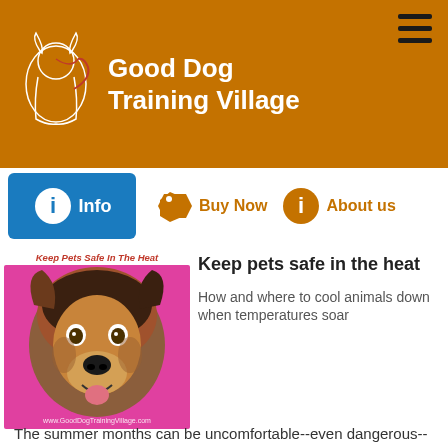Good Dog Training Village
[Figure (logo): Good Dog Training Village logo with dog illustration]
Info
Buy Now
About us
[Figure (photo): Dog photo with caption 'Keep Pets Safe In The Heat' and watermark www.GoodDogTrainingVillage.com]
Keep pets safe in the heat
How and where to cool animals down when temperatures soar
The summer months can be uncomfortable--even dangerous--for pets and people. It's difficult enough simply to cope with rising temperatures, let alone thick humidity, but things really get tough in areas that are hit with the double blow of intense heat